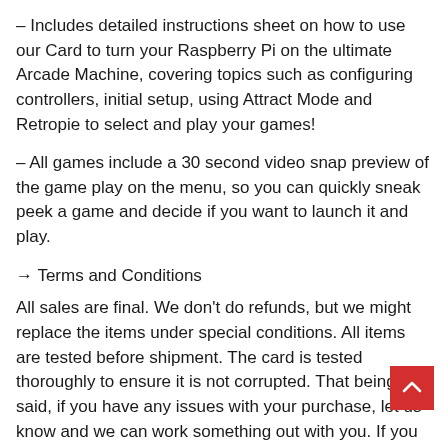– Includes detailed instructions sheet on how to use our Card to turn your Raspberry Pi on the ultimate Arcade Machine, covering topics such as configuring controllers, initial setup, using Attract Mode and Retropie to select and play your games!
– All games include a 30 second video snap preview of the game play on the menu, so you can quickly sneak peek a game and decide if you want to launch it and play.
→ Terms and Conditions
All sales are final. We don't do refunds, but we might replace the items under special conditions. All items are tested before shipment. The card is tested thoroughly to ensure it is not corrupted. That being said, if you have any issues with your purchase, let us know and we can work something out with you. If you feel you have a defective item, please contact us within 24 HOURS UPON RECEIPT OF YOUR PACKAGE to be entitled to the replacement of your card. We will always work with you to make sure you are 100% satisfied with your purchase and that the card